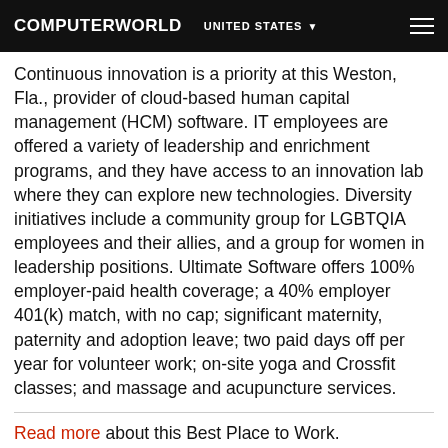COMPUTERWORLD  UNITED STATES
Continuous innovation is a priority at this Weston, Fla., provider of cloud-based human capital management (HCM) software. IT employees are offered a variety of leadership and enrichment programs, and they have access to an innovation lab where they can explore new technologies. Diversity initiatives include a community group for LGBTQIA employees and their allies, and a group for women in leadership positions. Ultimate Software offers 100% employer-paid health coverage; a 40% employer 401(k) match, with no cap; significant maternity, paternity and adoption leave; two paid days off per year for volunteer work; on-site yoga and Crossfit classes; and massage and acupuncture services.
Read more about this Best Place to Work.